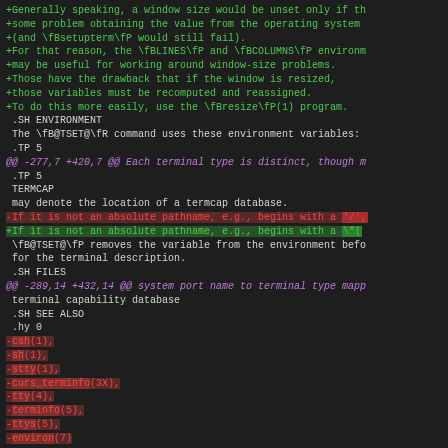Diff/patch code view showing changes to a terminal/ncurses man page source file, including additions (green), deletions (red), context lines, and hunk headers (magenta).